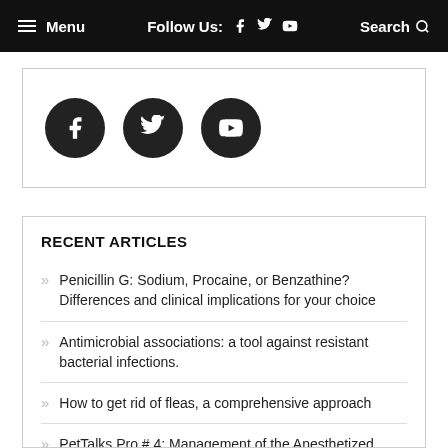Menu  Follow Us: f  t  yt  Search
[Figure (illustration): Three dark circular social media icon buttons: Facebook (f), Twitter (bird), YouTube (play button)]
RECENT ARTICLES
Penicillin G: Sodium, Procaine, or Benzathine? Differences and clinical implications for your choice
Antimicrobial associations: a tool against resistant bacterial infections.
How to get rid of fleas, a comprehensive approach
PetTalks Pro # 4: Management of the Anesthetized